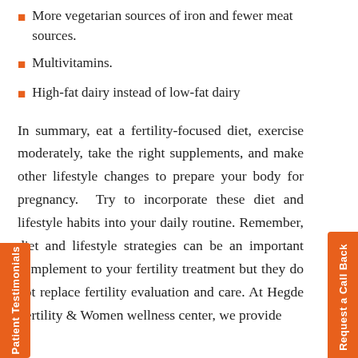More vegetarian sources of iron and fewer meat sources.
Multivitamins.
High-fat dairy instead of low-fat dairy
In summary, eat a fertility-focused diet, exercise moderately, take the right supplements, and make other lifestyle changes to prepare your body for pregnancy. Try to incorporate these diet and lifestyle habits into your daily routine. Remember, diet and lifestyle strategies can be an important complement to your fertility treatment but they do not replace fertility evaluation and care. At Hegde Fertility & Women wellness center, we provide